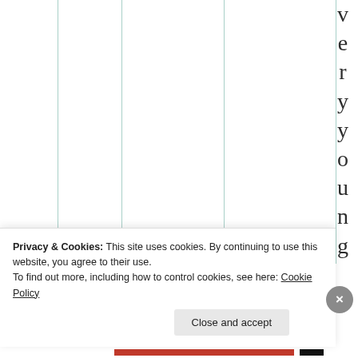[Figure (other): Table or chart background with vertical teal/green column divider lines and vertical stacked text reading 'very young, I' along the right side]
Privacy & Cookies: This site uses cookies. By continuing to use this website, you agree to their use.
To find out more, including how to control cookies, see here: Cookie Policy
Close and accept